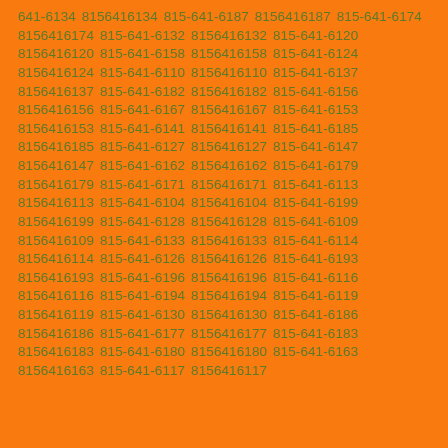641-6134 8156416134 815-641-6187 8156416187 815-641-6174 8156416174 815-641-6132 8156416132 815-641-6120 8156416120 815-641-6158 8156416158 815-641-6124 8156416124 815-641-6110 8156416110 815-641-6137 8156416137 815-641-6182 8156416182 815-641-6156 8156416156 815-641-6167 8156416167 815-641-6153 8156416153 815-641-6141 8156416141 815-641-6185 8156416185 815-641-6127 8156416127 815-641-6147 8156416147 815-641-6162 8156416162 815-641-6179 8156416179 815-641-6171 8156416171 815-641-6113 8156416113 815-641-6104 8156416104 815-641-6199 8156416199 815-641-6128 8156416128 815-641-6109 8156416109 815-641-6133 8156416133 815-641-6114 8156416114 815-641-6126 8156416126 815-641-6193 8156416193 815-641-6196 8156416196 815-641-6116 8156416116 815-641-6194 8156416194 815-641-6119 8156416119 815-641-6130 8156416130 815-641-6186 8156416186 815-641-6177 8156416177 815-641-6183 8156416183 815-641-6180 8156416180 815-641-6163 8156416163 815-641-6117 8156416117